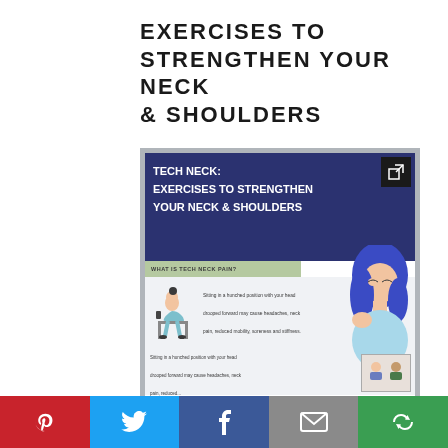EXERCISES TO STRENGTHEN YOUR NECK & SHOULDERS
[Figure (infographic): Infographic thumbnail showing 'TECH NECK: EXERCISES TO STRENGTHEN YOUR NECK & SHOULDERS' with dark navy blue header, a section labeled 'WHAT IS TECH NECK PAIN?', illustration of person hunched over phone, text about sitting in a hunched position causing headaches/neck pain/reduced mobility/soreness and stiffness, and a woman holding her neck in pain. External link icon in top right corner.]
[Figure (infographic): Social sharing bar with Pinterest (red), Twitter (blue), Facebook (dark blue), Email (gray), and More (green) buttons with respective icons.]